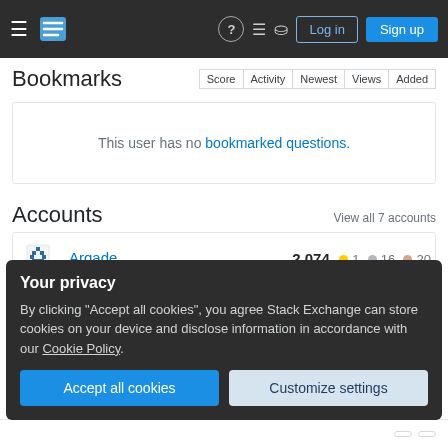Stack Exchange navigation bar with Log in and Sign up buttons
Bookmarks
This user has no bookmarked questions.
Accounts
View all 7 accounts
| Site | Score | Badges |
| --- | --- | --- |
| Arqade | 2,074 | 1 gold 16 silver 20 bronze |
| Stack Overflow | 101 |  |
Your privacy
By clicking "Accept all cookies", you agree Stack Exchange can store cookies on your device and disclose information in accordance with our Cookie Policy.
Accept all cookies
Customize settings